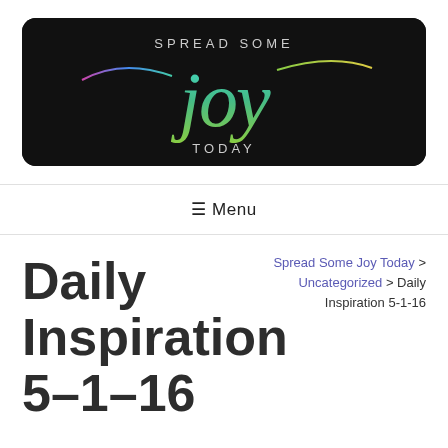[Figure (logo): Spread Some Joy Today logo — dark rounded rectangle background with colorful script 'joy' lettering and text 'SPREAD SOME' above and 'TODAY' below]
☰ Menu
Daily Inspiration 5-1-16
Spread Some Joy Today > Uncategorized > Daily Inspiration 5-1-16